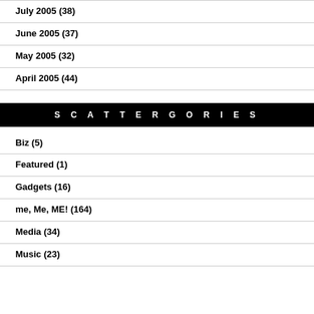July 2005 (38)
June 2005 (37)
May 2005 (32)
April 2005 (44)
SCATTERGORIES
Biz (5)
Featured (1)
Gadgets (16)
me, Me, ME! (164)
Media (34)
Music (23)